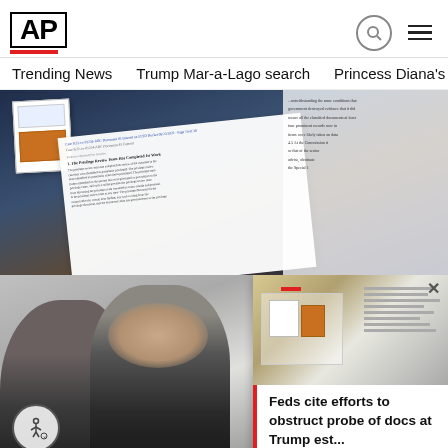AP
Trending News   Trump Mar-a-Lago search   Princess Diana's dea
[Figure (photo): Legal documents spread on a table with decorative tablecloth; document pages with case header text visible]
[Figure (photo): Two men photographed from behind/side in close-up, gray background]
[Figure (photo): Popup card showing boxes/documents photo with headline text]
Feds cite efforts to obstruct probe of docs at Trump est...